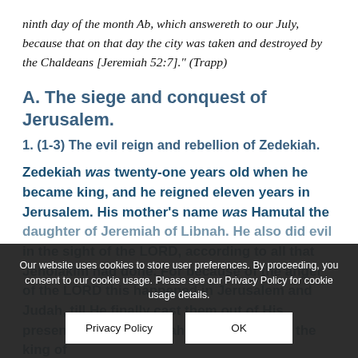ninth day of the month Ab, which answereth to our July, because that on that day the city was taken and destroyed by the Chaldeans [Jeremiah 52:7]." (Trapp)
A. The siege and conquest of Jerusalem.
1. (1-3) The evil reign and rebellion of Zedekiah.
Zedekiah was twenty-one years old when he became king, and he reigned eleven years in Jerusalem. His mother's name was Hamutal the daughter of Jeremiah of Libnah. He also did evil in the sight of the LORD, according to all that Jehoiakim had done. For because of the anger of the LORD this happened in Jerusalem and Judah, till He finally cast them out of His presence. Then Zedekiah rebelled against the king of
Our website uses cookies to store user preferences. By proceeding, you consent to our cookie usage. Please see our Privacy Policy for cookie usage details.